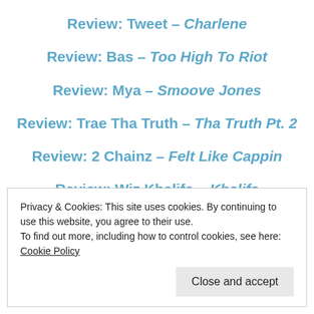Review: Tweet – Charlene
Review: Bas – Too High To Riot
Review: Mya – Smoove Jones
Review: Trae Tha Truth – Tha Truth Pt. 2
Review: 2 Chainz – Felt Like Cappin
Review: Wiz Khalifa – Khalifa
Privacy & Cookies: This site uses cookies. By continuing to use this website, you agree to their use.
To find out more, including how to control cookies, see here: Cookie Policy